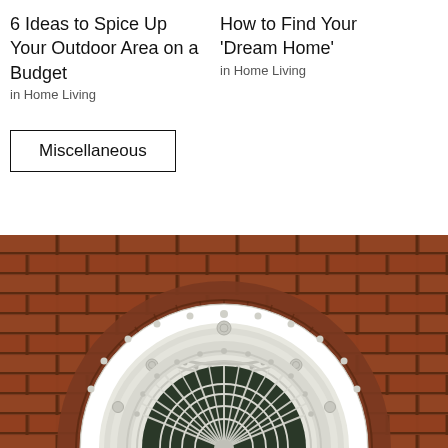6 Ideas to Spice Up Your Outdoor Area on a Budget
in Home Living
How to Find Your 'Dream Home'
in Home Living
Miscellaneous
[Figure (photo): A decorative semicircular fanlight window set in a red brick archway, featuring ornate white plasterwork with fan-shaped glazing bars and decorative molding details.]